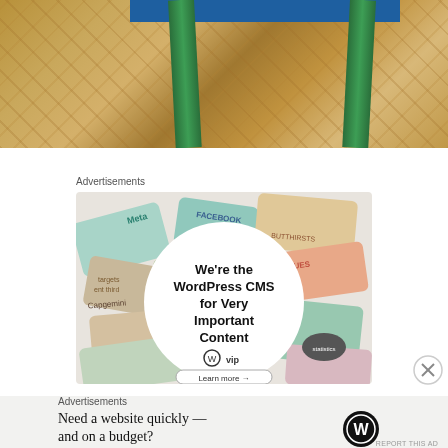[Figure (photo): Photo showing legs of a green-painted wooden stool on a parquet hardwood floor. The stool has a blue horizontal bar at the top. The wooden floor shows a herringbone or basketweave parquet pattern in warm brown tones.]
Advertisements
[Figure (photo): Advertisement for WordPress VIP. Shows a collage of brand/publication cards (Meta, Facebook, Capgemini, etc.) in the background with a white circle in the center containing bold text: 'We're the WordPress CMS for Very Important Content' with the WordPress VIP logo and a 'Learn more →' button.]
Advertisements
Need a website quickly — and on a budget?